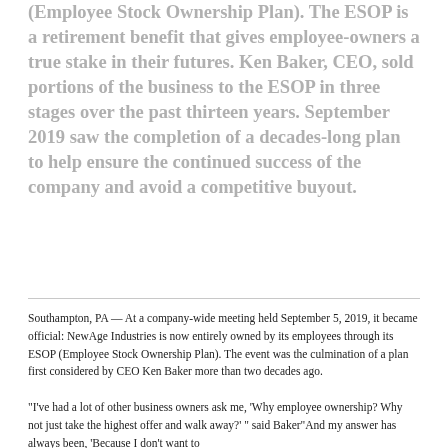(Employee Stock Ownership Plan). The ESOP is a retirement benefit that gives employee-owners a true stake in their futures. Ken Baker, CEO, sold portions of the business to the ESOP in three stages over the past thirteen years. September 2019 saw the completion of a decades-long plan to help ensure the continued success of the company and avoid a competitive buyout.
Southampton, PA — At a company-wide meeting held September 5, 2019, it became official: NewAge Industries is now entirely owned by its employees through its ESOP (Employee Stock Ownership Plan). The event was the culmination of a plan first considered by CEO Ken Baker more than two decades ago.
"I've had a lot of other business owners ask me, 'Why employee ownership? Why not just take the highest offer and walk away?' " said Baker"And my answer has always been, 'Because I don't want to...